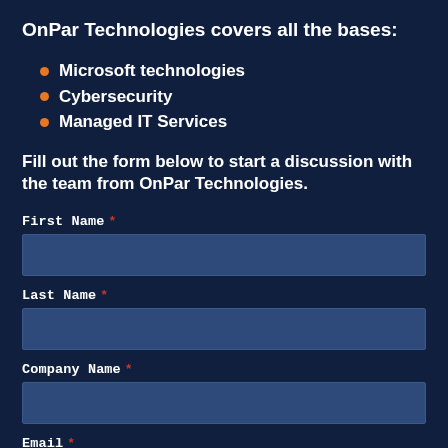OnPar Technologies covers all the bases:
Microsoft technologies
Cybersecurity
Managed IT Services
Fill out the form below to start a discussion with the team from OnPar Technologies.
First Name *
Last Name *
Company Name *
Email *